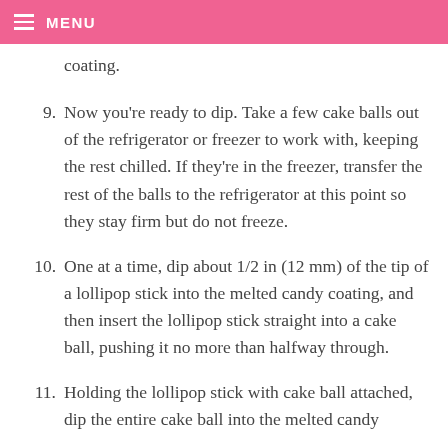MENU
coating.
9. Now you’re ready to dip. Take a few cake balls out of the refrigerator or freezer to work with, keeping the rest chilled. If they’re in the freezer, transfer the rest of the balls to the refrigerator at this point so they stay firm but do not freeze.
10. One at a time, dip about 1/2 in (12 mm) of the tip of a lollipop stick into the melted candy coating, and then insert the lollipop stick straight into a cake ball, pushing it no more than halfway through.
11. Holding the lollipop stick with cake ball attached, dip the entire cake ball into the melted candy